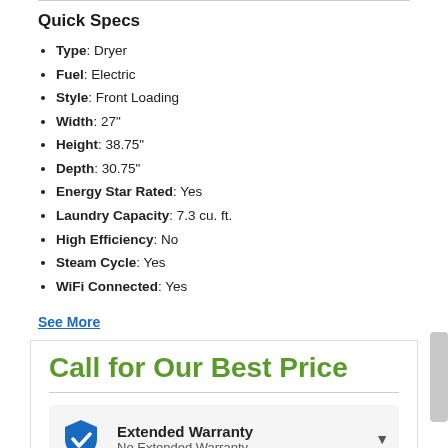Quick Specs
Type: Dryer
Fuel: Electric
Style: Front Loading
Width: 27"
Height: 38.75"
Depth: 30.75"
Energy Star Rated: Yes
Laundry Capacity: 7.3 cu. ft.
High Efficiency: No
Steam Cycle: Yes
WiFi Connected: Yes
See More
Call for Our Best Price
Extended Warranty
No Extended Warranty